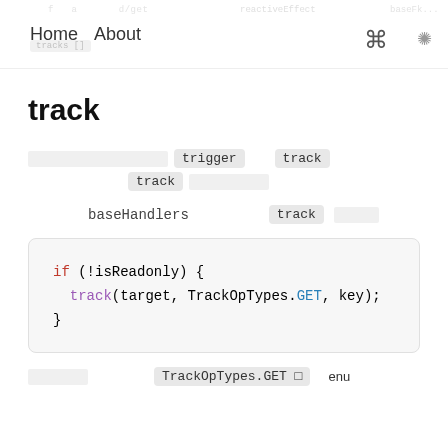Home  About
track
[CJK text] trigger  track
track [CJK text]
baseHandlers  track [CJK text]
if (!isReadonly) {
  track(target, TrackOpTypes.GET, key);
}
[CJK text]  TrackOpTypes.GET []  enu